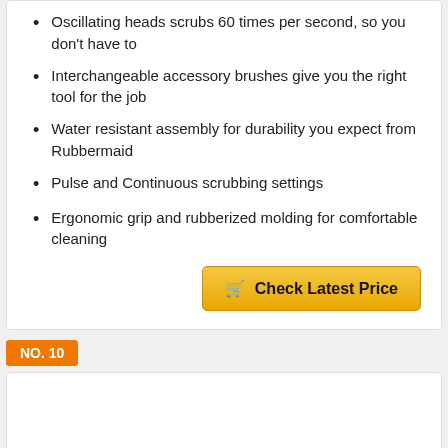Oscillating heads scrubs 60 times per second, so you don't have to
Interchangeable accessory brushes give you the right tool for the job
Water resistant assembly for durability you expect from Rubbermaid
Pulse and Continuous scrubbing settings
Ergonomic grip and rubberized molding for comfortable cleaning
Check Latest Price
NO. 10
[Figure (photo): Product photo of a white cylindrical cleaning product container, partially visible at the bottom of the card]